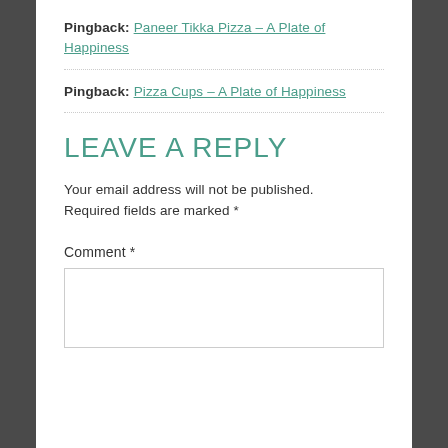Pingback: Paneer Tikka Pizza – A Plate of Happiness
Pingback: Pizza Cups – A Plate of Happiness
LEAVE A REPLY
Your email address will not be published. Required fields are marked *
Comment *